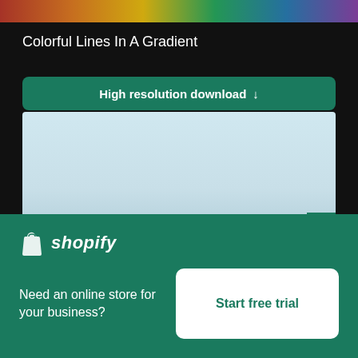[Figure (photo): Colorful gradient lines strip at the top of the page]
Colorful Lines In A Gradient
High resolution download ↓
[Figure (photo): Landscape photograph showing a wide panoramic view of water/sea with low hills or land in the distance under a pale blue sky]
[Figure (logo): Shopify logo with bag icon and italic shopify text]
Need an online store for your business?
Start free trial